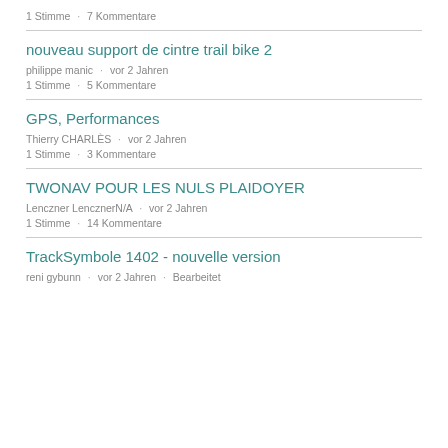1 Stimme · 7 Kommentare
nouveau support de cintre trail bike 2
philippe manic · vor 2 Jahren
1 Stimme · 5 Kommentare
GPS, Performances
Thierry CHARLÈS · vor 2 Jahren
1 Stimme · 3 Kommentare
TWONAV POUR LES NULS PLAIDOYER
Lenczner LencznerN/A · vor 2 Jahren
1 Stimme · 14 Kommentare
TrackSymbole 1402 - nouvelle version
reni gybunn · vor 2 Jahren · Bearbeitet